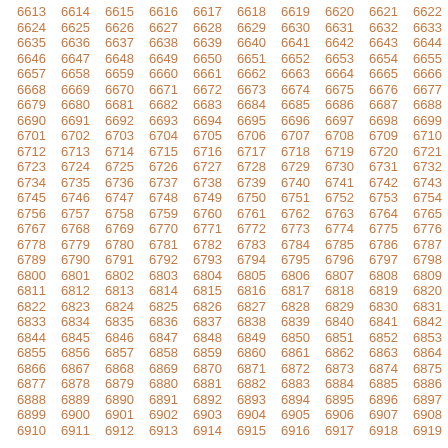Grid of numbers 6613 through 6919+, arranged in rows of 10, in orange/brown color